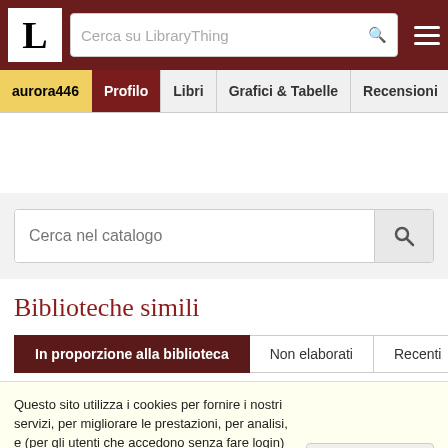LibraryThing - Cerca su LibraryThing
aurora446 | Profilo | Libri | Grafici & Tabelle | Recensioni
Cerca nel catalogo
Biblioteche simili
In proporzione alla biblioteca | Non elaborati | Recenti
Questo sito utilizza i cookies per fornire i nostri servizi, per migliorare le prestazioni, per analisi, e (per gli utenti che accedono senza fare login) per la pubblicità. Usando LibraryThing confermi di aver letto e capito le nostre condizioni di servizio e la politica sulla privacy. Il tuo uso del sito e dei servizi è soggetto a tali politiche e condizioni.